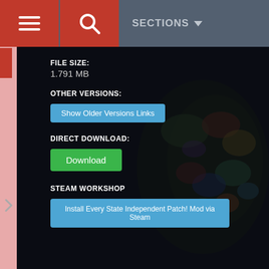SECTIONS
FILE SIZE:
1.791 MB
OTHER VERSIONS:
Show Older Versions Links
DIRECT DOWNLOAD:
Download
STEAM WORKSHOP
Install Every State Independent Patch! Mod via Steam